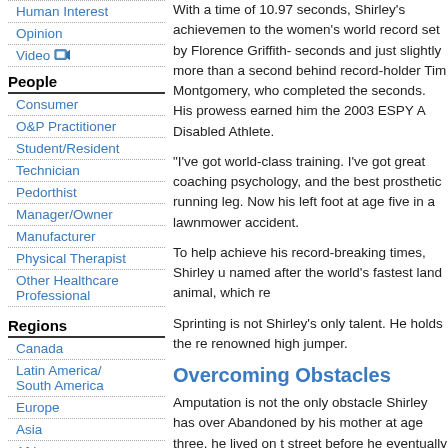Human Interest
Opinion
Video
People
Consumer
O&P Practitioner
Student/Resident
Technician
Pedorthist
Manager/Owner
Manufacturer
Physical Therapist
Other Healthcare Professional
Regions
Canada
Latin America/South America
Europe
Asia
Africa
Australia
Artículos en Español
With a time of 10.97 seconds, Shirley's achievement was close to the women's world record set by Florence Griffith-seconds and just slightly more than a second behind record-holder Tim Montgomery, who completed the seconds. His prowess earned him the 2003 ESPY A Disabled Athlete.
"I've got world-class training. I've got great coaching psychology, and the best prosthetic running leg. Now his left foot at age five in a lawnmower accident.
To help achieve his record-breaking times, Shirley u named after the world's fastest land animal, which re
Sprinting is not Shirley's only talent. He holds the re renowned high jumper.
Overcoming Obstacles
Amputation is not the only obstacle Shirley has over Abandoned by his mother at age three, he lived on t street before he eventually found his way into the fo care system. When he was nine, he was adopted by loving Utah couple who supported him in his goals. does what anybody else does and then some," said Marlon's dad, Kerry Shirley, quoted in a story by E